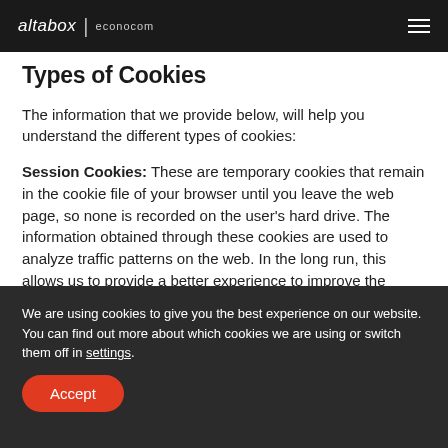altabox | econocom
Types of Cookies
The information that we provide below, will help you understand the different types of cookies:
Session Cookies: These are temporary cookies that remain in the cookie file of your browser until you leave the web page, so none is recorded on the user's hard drive. The information obtained through these cookies are used to analyze traffic patterns on the web. In the long run, this allows us to provide a better experience to improve the content and facilitate its use.
Permanent cookies: they are stored on the hard disk and
We are using cookies to give you the best experience on our website.
You can find out more about which cookies we are using or switch them off in settings.
Accept